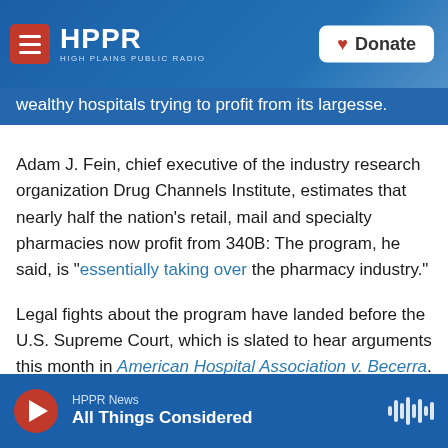HPPR HIGH PLAINS PUBLIC RADIO | Donate
wealthy hospitals trying to profit from its largesse.
Adam J. Fein, chief executive of the industry research organization Drug Channels Institute, estimates that nearly half the nation’s retail, mail and specialty pharmacies now profit from 340B: The program, he said, is “essentially taking over the pharmacy industry.”
Legal fights about the program have landed before the U.S. Supreme Court, which is slated to hear arguments this month in American Hospital Association v. Becerra. The hospital industry is challenging a 2018 rule by the Trump
HPPR News | All Things Considered